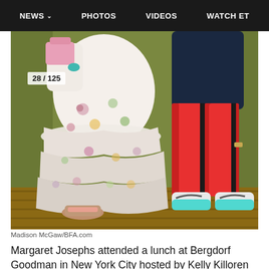NEWS  PHOTOS  VIDEOS  WATCH ET
[Figure (photo): Photo of two people from the waist down. Left person wearing a floral ruffled dress and espadrille shoes. Right person wearing red leggings with a dark stripe and white/teal Nike sneakers. Olive green curtain background. Counter badge shows 28/125.]
Madison McGaw/BFA.com
Margaret Josephs attended a lunch at Bergdorf Goodman in New York City hosted by Kelly Killoren Bensimon to celebrate the launch of a new tennis collection from